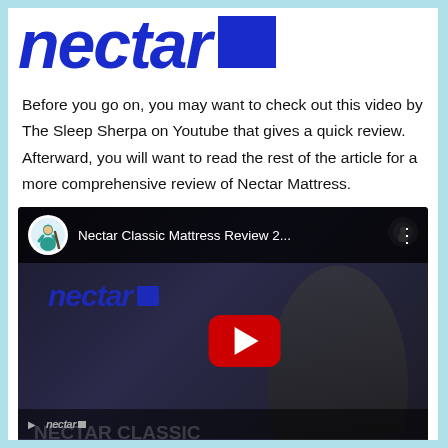[Figure (logo): Nectar brand logo in bold dark blue italic text with a solid dark blue square to the right]
Before you go on, you may want to check out this video by The Sleep Sherpa on Youtube that gives a quick review. Afterward, you will want to read the rest of the article for a more comprehensive review of Nectar Mattress.
[Figure (screenshot): Embedded YouTube video thumbnail showing 'Nectar Classic Mattress Review 2...' with Sleep Sherpa channel avatar, a play button, the Nectar logo visible in the video, and a person sitting on a mattress in the background. Bottom overlay text reads NECTAR CLASSIC MATTRESS REVIEW.]